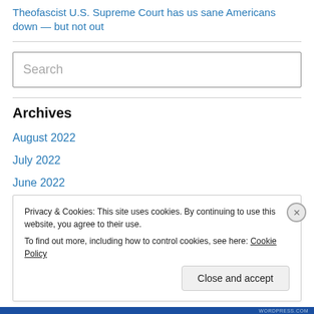Theofascist U.S. Supreme Court has us sane Americans down — but not out
[Figure (other): Search input box with placeholder text 'Search']
Archives
August 2022
July 2022
June 2022
May 2022
Privacy & Cookies: This site uses cookies. By continuing to use this website, you agree to their use.
To find out more, including how to control cookies, see here: Cookie Policy